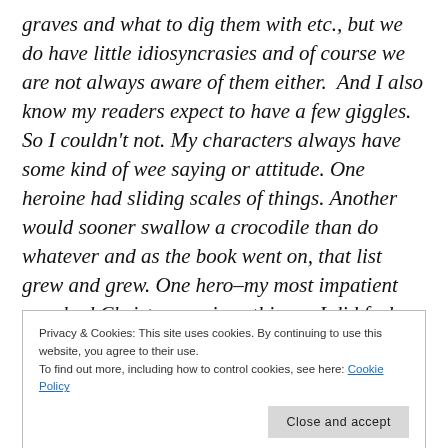graves and what to dig them with etc., but we do have little idiosyncrasies and of course we are not always aware of them either.  And I also know my readers expect to have a few giggles. So I couldn't not. My characters always have some kind of wee saying or attitude. One heroine had sliding scales of things. Another would sooner swallow a crocodile than do whatever and as the book went on, that list grew and grew. One hero–my most impatient one–had Christ on various things.  I did feel this book would be a bit
Privacy & Cookies: This site uses cookies. By continuing to use this website, you agree to their use.
To find out more, including how to control cookies, see here: Cookie Policy
widow, thank God, because she had every reason not